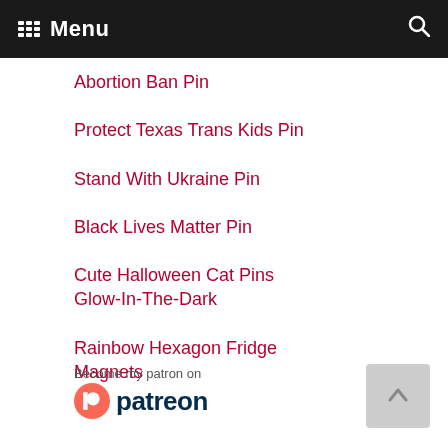Menu
Abortion Ban Pin
Protect Texas Trans Kids Pin
Stand With Ukraine Pin
Black Lives Matter Pin
Cute Halloween Cat Pins Glow-In-The-Dark
Rainbow Hexagon Fridge Magnets
[Figure (logo): Patreon logo with text 'Become my patron on patreon']
[Figure (other): Back to top button with upward arrow]